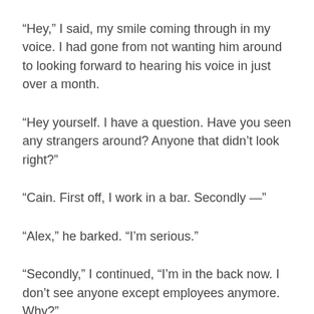“Hey,” I said, my smile coming through in my voice. I had gone from not wanting him around to looking forward to hearing his voice in just over a month.
“Hey yourself. I have a question. Have you seen any strangers around? Anyone that didn’t look right?”
“Cain. First off, I work in a bar. Secondly —”
“Alex,” he barked. “I’m serious.”
“Secondly,” I continued, “I’m in the back now. I don’t see anyone except employees anymore. Why?”
“Nothing to worry about…